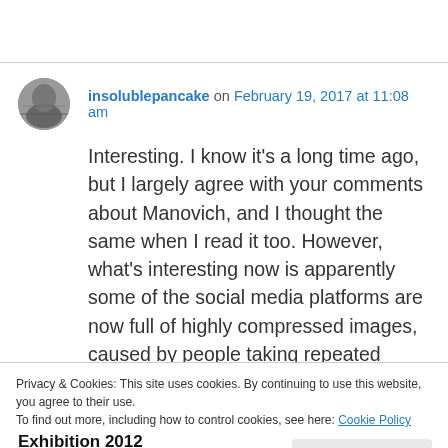insolublepancake on February 19, 2017 at 11:08 am
Interesting. I know it's a long time ago, but I largely agree with your comments about Manovich, and I thought the same when I read it too. However, what's interesting now is apparently some of the social media platforms are now full of highly compressed images, caused by people taking repeated screengrabs of images which are then shared numerous all
Privacy & Cookies: This site uses cookies. By continuing to use this website, you agree to their use.
To find out more, including how to control cookies, see here: Cookie Policy
Close and accept
Exhibition 2012